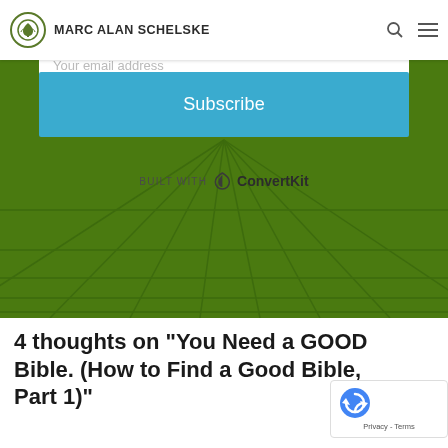MARC ALAN SCHELSKE
[Figure (screenshot): Green tiled background section with email subscription form. Contains 'Your first name' and 'Your email address' input fields, a blue 'Subscribe' button, and 'BUILT WITH ConvertKit' branding below.]
4 thoughts on “You Need a GOOD Bible. (How to Find a Good Bible, Part 1)”